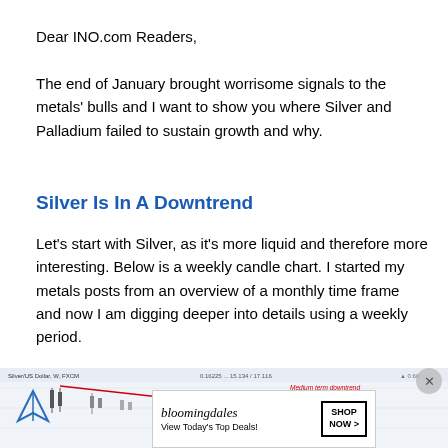Dear INO.com Readers,
The end of January brought worrisome signals to the metals' bulls and I want to show you where Silver and Palladium failed to sustain growth and why.
Silver Is In A Downtrend
Let's start with Silver, as it's more liquid and therefore more interesting. Below is a weekly candle chart. I started my metals posts from an overview of a monthly time frame and now I am digging deeper into details using a weekly period.
[Figure (screenshot): Weekly candle chart of Silver/US Dollar (XAG/USD) from FXCM platform showing medium-term downtrend with a red diagonal trendline and annotation 'Medium term downtrend' and 'Price failed to:']
[Figure (other): Bloomingdale's advertisement banner reading 'bloomingdales View Today's Top Deals!' with a woman in a hat and SHOP NOW > button]